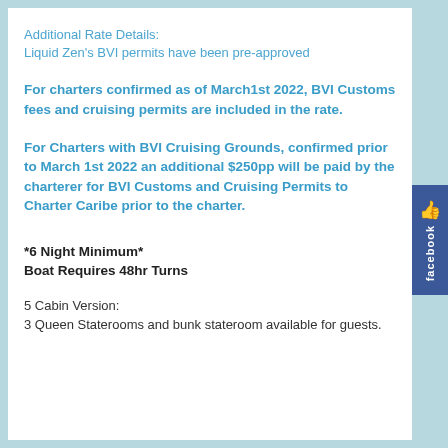Additional Rate Details:
Liquid Zen's BVI permits have been pre-approved
For charters confirmed as of March1st 2022, BVI Customs fees and cruising permits are included in the rate.
For Charters with BVI Cruising Grounds, confirmed prior to March 1st 2022 an additional $250pp will be paid by the charterer for BVI Customs and Cruising Permits to Charter Caribe prior to the charter.
*6 Night Minimum*
Boat Requires 48hr Turns
5 Cabin Version:
3 Queen Staterooms and bunk stateroom available for guests.